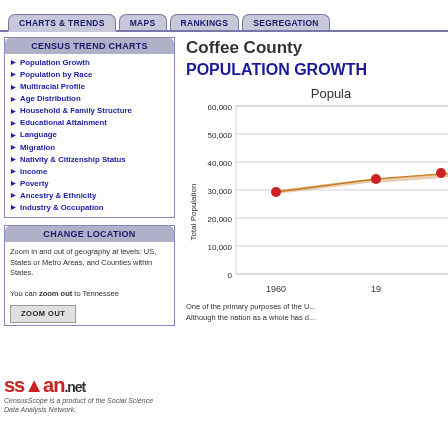CHARTS & TRENDS | MAPS | RANKINGS | SEGREGATION
CENSUS TREND CHARTS
Population Growth
Population by Race
Multiracial Profile
Age Distribution
Household & Family Structure
Educational Attainment
Language
Migration
Nativity & Citizenship Status
Income
Poverty
Ancestry & Ethnicity
Industry & Occupation
CHANGE LOCATION
Zoom in and out of geography at levels: US, States or Metro Areas, and Counties within States.

You can zoom out to Tennessee
Coffee County
POPULATION GROWTH
[Figure (line-chart): Popula...]
One of the primary purposes of the U... Although the nation as a whole has d...